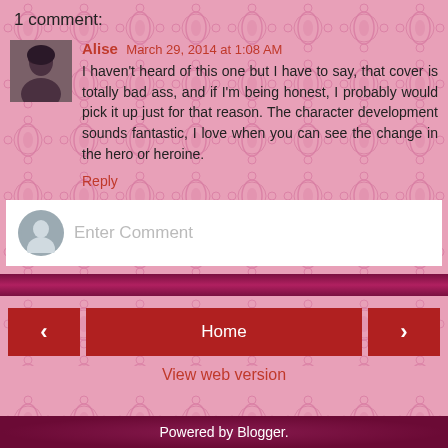1 comment:
Alise March 29, 2014 at 1:08 AM
I haven't heard of this one but I have to say, that cover is totally bad ass, and if I'm being honest, I probably would pick it up just for that reason. The character development sounds fantastic, I love when you can see the change in the hero or heroine.
Reply
Enter Comment
Home
View web version
Powered by Blogger.